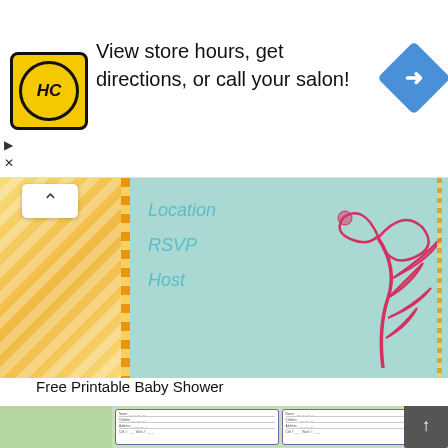[Figure (screenshot): Advertisement banner for HC (Hair Club) salon with logo, text 'View store hours, get directions, or call your salon!' and a blue navigation diamond icon. Play and close controls visible at left.]
[Figure (photo): Partial baby shower invitation card showing fields: Location, RSVP, Host with decorative floral motif and yellow chevron pattern on left side. Navigation up arrow button visible.]
Free Printable Baby Shower
[Figure (screenshot): Bottom portion showing green-background printable baby shower address/contact cards in a grid layout with fields for Name, Children, Address, Cell #, Work #, Home #, Email, Birthday, Holiday Card.]